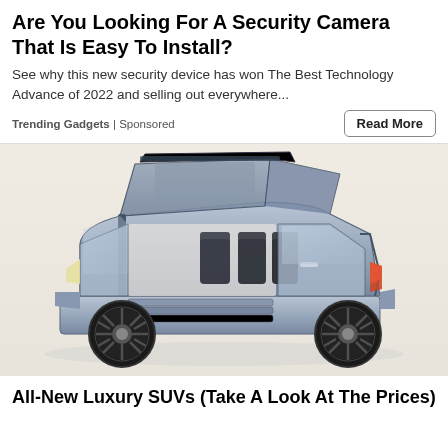Are You Looking For A Security Camera That Is Easy To Install?
See why this new security device has won The Best Technology Advance of 2022 and selling out everywhere...
Trending Gadgets | Sponsored
[Figure (photo): Luxury SUV with gull-wing style open roof panels and suicide doors open, revealing multiple reclining seats inside. The vehicle is metallic blue/silver, shown in profile view on a white background.]
All-New Luxury SUVs (Take A Look At The Prices)